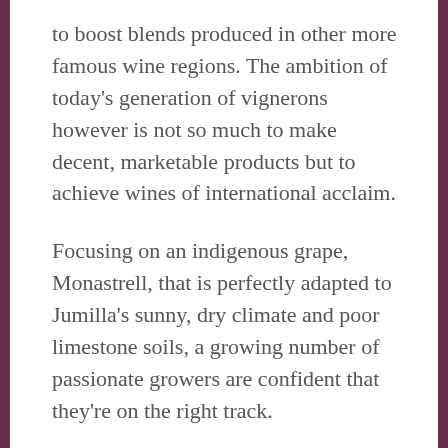to boost blends produced in other more famous wine regions. The ambition of today's generation of vignerons however is not so much to make decent, marketable products but to achieve wines of international acclaim.
Focusing on an indigenous grape, Monastrell, that is perfectly adapted to Jumilla's sunny, dry climate and poor limestone soils, a growing number of passionate growers are confident that they're on the right track.
Traditionally, grape-producers took advantage of the region's generous sunshine by planting vines on south-facing slopes, thereby guaranteeing regular crops of fully ripe grapes. Today, the prime vineyard sites are on the region's north-facing slopes, where the heat of the region mellows and keeps it consistent.